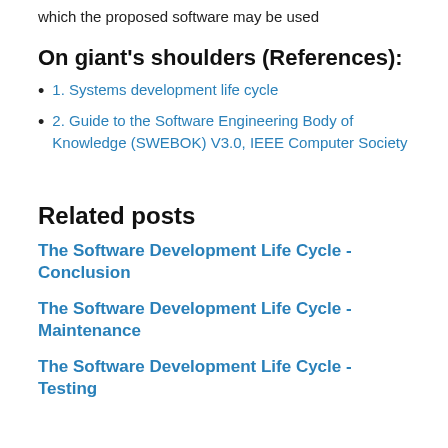which the proposed software may be used
On giant's shoulders (References):
1. Systems development life cycle
2. Guide to the Software Engineering Body of Knowledge (SWEBOK) V3.0, IEEE Computer Society
Related posts
The Software Development Life Cycle - Conclusion
The Software Development Life Cycle - Maintenance
The Software Development Life Cycle - Testing